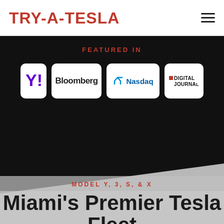TRY-A-TESLA
FEATURED IN
[Figure (logo): Media logos: Yahoo Finance (partial), Bloomberg, Nasdaq, Digital Journal on black background]
MODEL Y, 3, S, & X
Miami's Premier Tesla Fleet